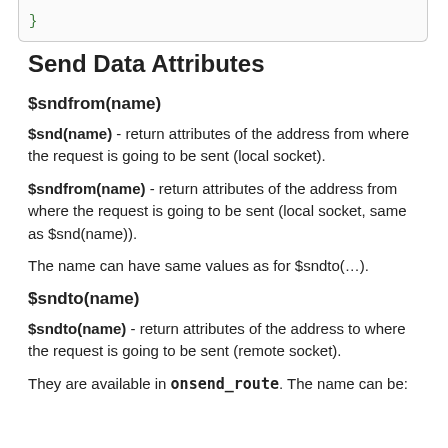[Figure (screenshot): Code snippet box with green text, partially visible at top of page]
Send Data Attributes
$sndfrom(name)
$snd(name) - return attributes of the address from where the request is going to be sent (local socket).
$sndfrom(name) - return attributes of the address from where the request is going to be sent (local socket, same as $snd(name)).
The name can have same values as for $sndto(…).
$sndto(name)
$sndto(name) - return attributes of the address to where the request is going to be sent (remote socket).
They are available in onsend_route. The name can be: